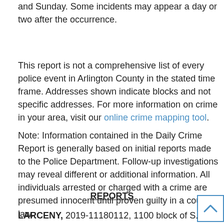and Sunday. Some incidents may appear a day or two after the occurrence.
This report is not a comprehensive list of every police event in Arlington County in the stated time frame. Addresses shown indicate blocks and not specific addresses. For more information on crime in your area, visit our online crime mapping tool.
Note: Information contained in the Daily Crime Report is generally based on initial reports made to the Police Department. Follow-up investigations may reveal different or additional information. All individuals arrested or charged with a crime are presumed innocent until proven guilty in a court of law.
REPORTS
LARCENY, 2019-11180112, 1100 block of S. Hayes Street